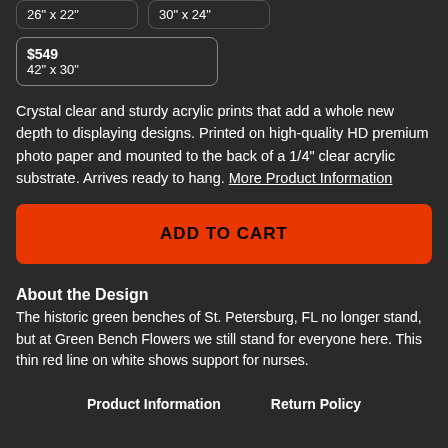26" x 22"
30" x 24"
$549
42" x 30"
Crystal clear and sturdy acrylic prints that add a whole new depth to displaying designs. Printed on high-quality HD premium photo paper and mounted to the back of a 1/4" clear acrylic substrate. Arrives ready to hang. More Product Information
ADD TO CART
About the Design
The historic green benches of St. Petersburg, FL no longer stand, but at Green Bench Flowers we still stand for everyone here. This thin red line on white shows support for nurses.
Product Information
Return Policy